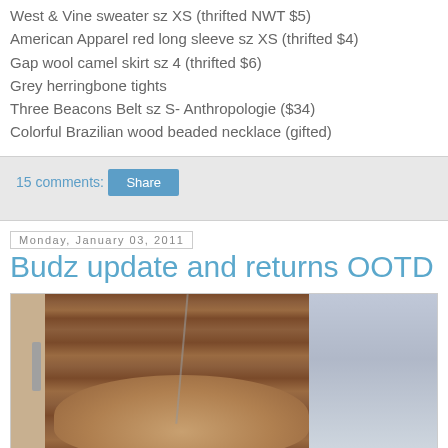West & Vine sweater sz XS (thrifted NWT $5)
American Apparel red long sleeve sz XS (thrifted $4)
Gap wool camel skirt sz 4 (thrifted $6)
Grey herringbone tights
Three Beacons Belt sz S- Anthropologie ($34)
Colorful Brazilian wood beaded necklace (gifted)
15 comments:
Share
Monday, January 03, 2011
Budz update and returns OOTD
[Figure (photo): Photo of a dog or cat in front of a wood-paneled door/wall, with a person visible on the right side wearing a grey/blue patterned top. A leash or cord is visible diagonally.]